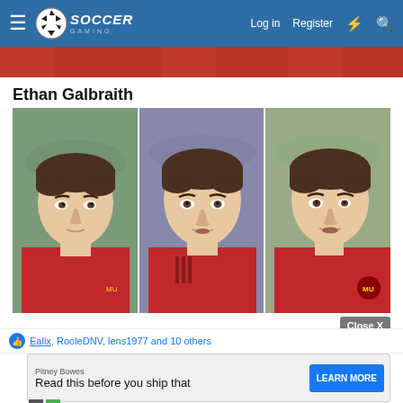Soccer Gaming — Log in  Register
[Figure (screenshot): Partial banner image showing red soccer jerseys at the top of the page]
Ethan Galbraith
[Figure (photo): Three panels showing the 3D face render of soccer player Ethan Galbraith in a red Manchester United kit from different slight angles]
Ealix, RooleDNV, lens1977 and 10 others
[Figure (screenshot): Advertisement banner: Pitney Bowes — Read this before you ship that — LEARN MORE button]